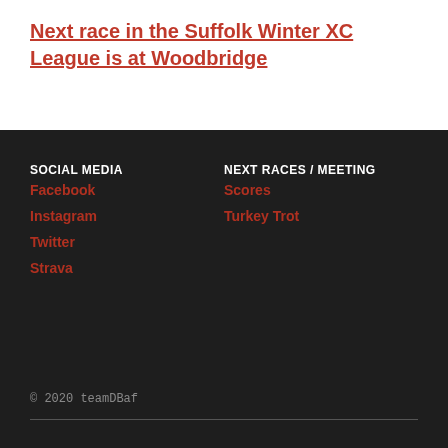Next race in the Suffolk Winter XC League is at Woodbridge
SOCIAL MEDIA
NEXT RACES / MEETING
Facebook
Instagram
Twitter
Strava
Scores
Turkey Trot
© 2020 teamDBaf